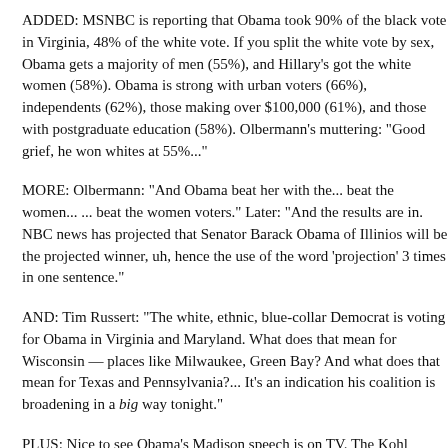ADDED: MSNBC is reporting that Obama took 90% of the black vote in Virginia, 48% of the white vote. If you split the white vote by sex, Obama gets a majority of men (55%), and Hillary's got the white women (58%). Obama is strong with urban voters (66%), independents (62%), those making over $100,000 (61%), and those with postgraduate education (58%). Olbermann's muttering: "Good grief, he won whites at 55%..."
MORE: Olbermann: "And Obama beat her with the... beat the women... ... beat the women voters." Later: "And the results are in. NBC news has projected that Senator Barack Obama of Illinios will be the projected winner, uh, hence the use of the word 'projection' 3 times in one sentence."
AND: Tim Russert: "The white, ethnic, blue-collar Democrat is voting for Obama in Virginia and Maryland. What does that mean for Wisconsin — places like Milwaukee, Green Bay? And what does that mean for Texas and Pennsylvania?... It's an indication his coalition is broadening in a big way tonight."
PLUS: Nice to see Obama's Madison speech is on TV. The Kohl Center is packed, with an overflow room. The announcer said it seats about 17,000, but that is when set up for a basketball game. For a speech, there is a lot more seating on the floor...